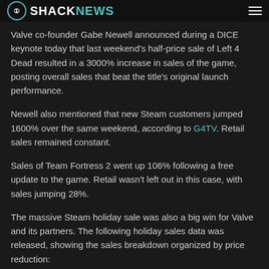Shacknews
Valve co-founder Gabe Newell announced during a DICE keynote today that last weekend's half-price sale of Left 4 Dead resulted in a 3000% increase in sales of the game, posting overall sales that beat the title's original launch performance.
Newell also mentioned that new Steam customers jumped 1600% over the same weekend, according to G4TV. Retail sales remained constant.
Sales of Team Fortress 2 went up 106% following a free update to the game. Retail wasn't left out in this case, with sales jumping 28%.
The massive Steam holiday sale was also a big win for Valve and its partners. The following holiday sales data was released, showing the sales breakdown organized by price reduction: